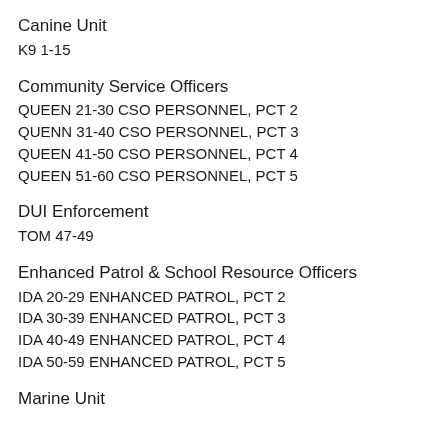Canine Unit
K9 1-15
Community Service Officers
QUEEN 21-30 CSO PERSONNEL, PCT 2
QUENN 31-40 CSO PERSONNEL, PCT 3
QUEEN 41-50 CSO PERSONNEL, PCT 4
QUEEN 51-60 CSO PERSONNEL, PCT 5
DUI Enforcement
TOM 47-49
Enhanced Patrol & School Resource Officers
IDA 20-29 ENHANCED PATROL, PCT 2
IDA 30-39 ENHANCED PATROL, PCT 3
IDA 40-49 ENHANCED PATROL, PCT 4
IDA 50-59 ENHANCED PATROL, PCT 5
Marine Unit